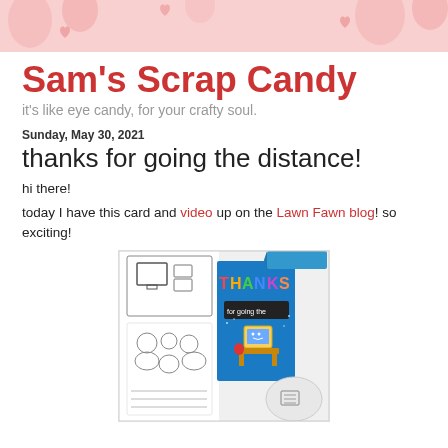[Figure (illustration): Pink decorative header banner with cartoon craft/art doodles]
Sam's Scrap Candy
it's like eye candy, for your crafty soul.
Sunday, May 30, 2021
thanks for going the distance!
hi there!
today I have this card and video up on the Lawn Fawn blog! so exciting!
[Figure (photo): Photo showing a crafted greeting card reading THANKS for going the with a cute laptop computer character on a desk, surrounded by stamp sets and craft supplies on a white background]